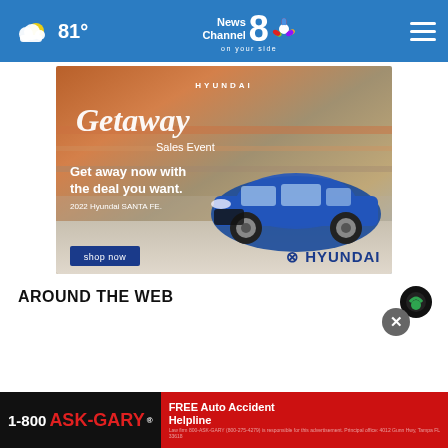81° News Channel 8 on your side
[Figure (photo): Hyundai Getaway Sales Event advertisement featuring a blue 2022 Hyundai Santa Fe SUV with text 'Get away now with the deal you want.' and a 'shop now' button]
AROUND THE WEB
[Figure (logo): Taboola logo icon (black and green circular logo)]
[Figure (photo): 1-800 ASK-GARY advertisement banner: FREE Auto Accident Helpline]